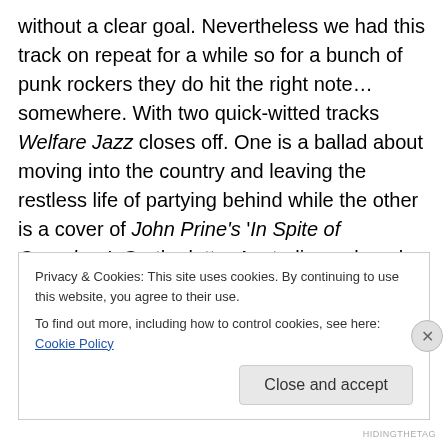without a clear goal. Nevertheless we had this track on repeat for a while so for a bunch of punk rockers they do hit the right note… somewhere. With two quick-witted tracks Welfare Jazz closes off. One is a ballad about moving into the country and leaving the restless life of partying behind while the other is a cover of John Prine's 'In Spite of Ourselves'. On the latter Australian pub rock singer Amy Taylor helps to create a heartfelt tribute to the recently deceased Prine' although the over the top Southern accents could also suggest something that's more, let's say, insulting.
Privacy & Cookies: This site uses cookies. By continuing to use this website, you agree to their use.
To find out more, including how to control cookies, see here: Cookie Policy